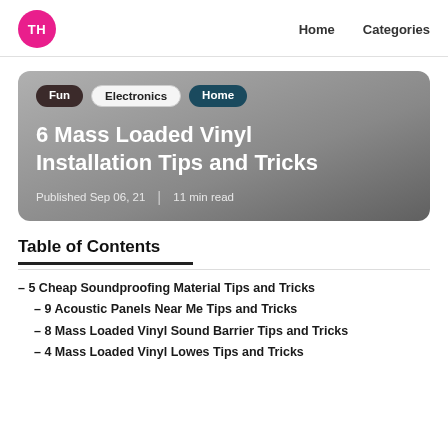TH  Home  Categories
[Figure (screenshot): Hero card with tags Fun, Electronics, Home and article title '6 Mass Loaded Vinyl Installation Tips and Tricks', published Sep 06, 21, 11 min read]
6 Mass Loaded Vinyl Installation Tips and Tricks
Published Sep 06, 21 | 11 min read
Table of Contents
– 5 Cheap Soundproofing Material Tips and Tricks
– 9 Acoustic Panels Near Me Tips and Tricks
– 8 Mass Loaded Vinyl Sound Barrier Tips and Tricks
– 4 Mass Loaded Vinyl Lowes Tips and Tricks